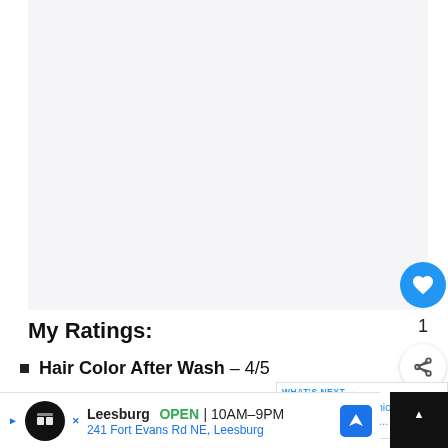[Figure (photo): Large image area placeholder (light gray background), appears to be a product/hair photo cropped at top]
My Ratings:
Hair Color After Wash – 4/5
Nourishing Power – 3.5/5
[Figure (other): What's Next panel with thumbnail and link: 9 Best Organic Shampoos F...]
Leesburg OPEN 10AM–9PM 241 Fort Evans Rd NE, Leesburg